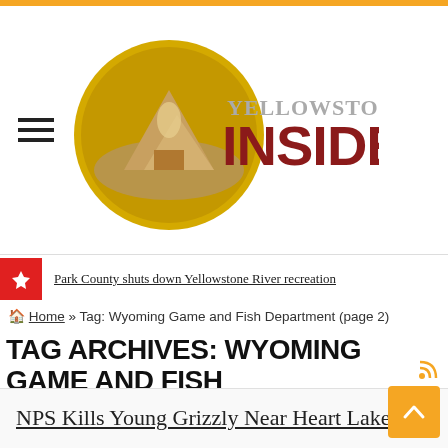[Figure (logo): Yellowstone Insider logo — circular emblem with mountain/geyser scene and bold INSIDER text in dark red]
Park County shuts down Yellowstone River recreation
🏠 Home » Tag: Wyoming Game and Fish Department (page 2)
TAG ARCHIVES: WYOMING GAME AND FISH DEPARTMENT
NPS Kills Young Grizzly Near Heart Lake in